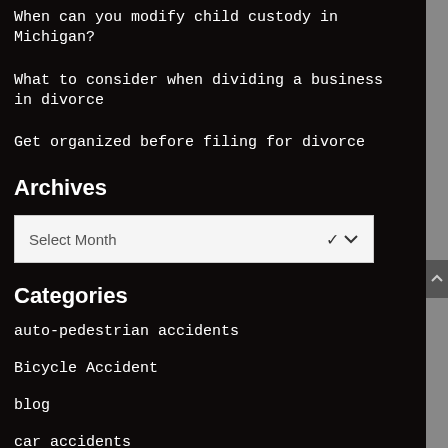When can you modify child custody in Michigan?
What to consider when dividing a business in divorce
Get organized before filing for divorce
Archives
Select Month
Categories
auto-pedestrian accidents
Bicycle Accident
blog
car accidents